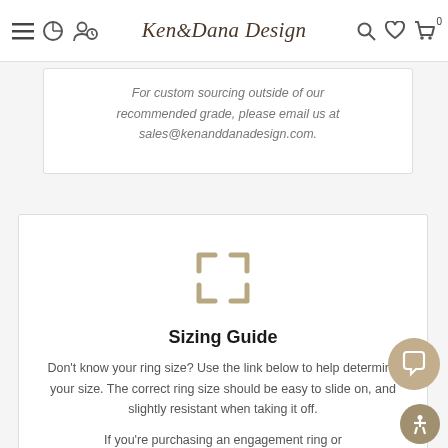Ken & Dana Design
For custom sourcing outside of our recommended grade, please email us at sales@kenanddanadesign.com.
[Figure (other): Expand/fullscreen icon with four arrows pointing outward in tan/gold color]
Sizing Guide
Don't know your ring size? Use the link below to help determine your size. The correct ring size should be easy to slide on, and slightly resistant when taking it off.
If you're purchasing an engagement ring or